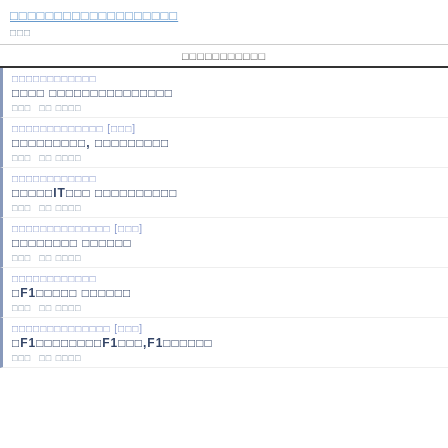□□□□□□□□□□□□□□□□□□□ □□□
□□□□□□□□□□□
□□□□□□□□□□□□ / □□□□ □□□□□□□□□□□□□□□ / □□□ □□ □□□□
□□□□□□□□□□□□□ [□□□] / □□□□□□□□□, □□□□□□□□□ / □□□ □□ □□□□
□□□□□□□□□□□□ / □□□□□IT□□□ □□□□□□□□□□ / □□□ □□ □□□□
□□□□□□□□□□□□□□ [□□□] / □□□□□□□□ □□□□□□ / □□□ □□ □□□□
□□□□□□□□□□□□ / □F1□□□□□ □□□□□□ / □□□ □□ □□□□
□□□□□□□□□□□□□□ [□□□] / □F1□□□□□□□□F1□□□,F1□□□□□□ / □□□ □□ □□□□